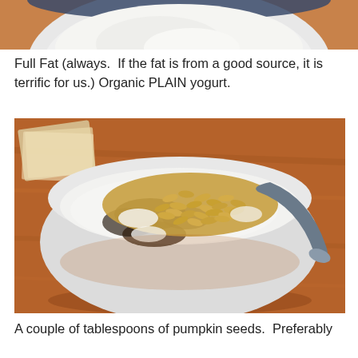[Figure (photo): Top portion of a bowl with blue rim containing white yogurt, cropped at the top of the page]
Full Fat (always.  If the fat is from a good source, it is terrific for us.) Organic PLAIN yogurt.
[Figure (photo): Overhead view of a white bowl on a brown wooden table containing yogurt topped with pumpkin seeds and dark toppings, with a spoon in the bowl and paper packets visible in the upper left]
A couple of tablespoons of pumpkin seeds.  Preferably